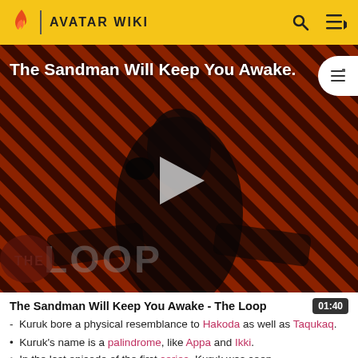AVATAR WIKI
[Figure (screenshot): Video thumbnail for 'The Sandman Will Keep You Awake - The Loop' showing a figure in black clothing against a red and black diagonal striped background, with a play button overlay and 'THE LOOP' logo watermark.]
The Sandman Will Keep You Awake - The Loop 01:40
Kuruk bore a physical resemblance to Hakoda as well as Taqukaq.
Kuruk's name is a palindrome, like Appa and Ikki.
In the last episode of the first series, Kuruk was seen